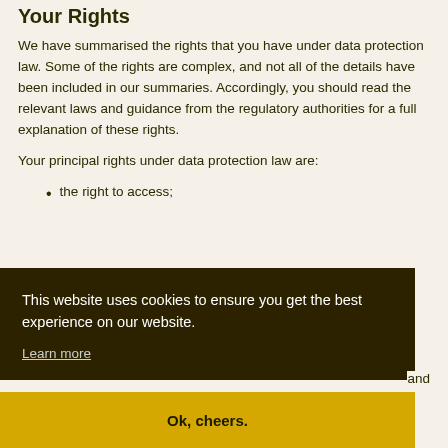Your Rights
We have summarised the rights that you have under data protection law. Some of the rights are complex, and not all of the details have been included in our summaries. Accordingly, you should read the relevant laws and guidance from the regulatory authorities for a full explanation of these rights.
Your principal rights under data protection law are:
the right to access;
This website uses cookies to ensure you get the best experience on our website.
Learn more
and
Ok, cheers.